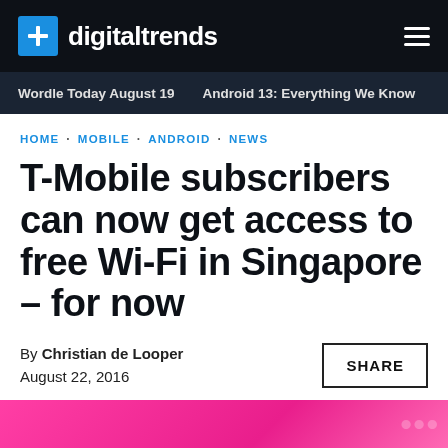digitaltrends
Wordle Today August 19  Android 13: Everything We Know
HOME · MOBILE · ANDROID · NEWS
T-Mobile subscribers can now get access to free Wi-Fi in Singapore – for now
By Christian de Looper
August 22, 2016
[Figure (photo): Pink T-Mobile branded image strip at bottom of page]